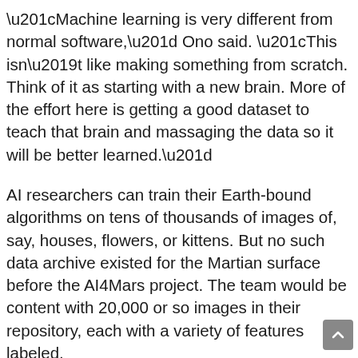“Machine learning is very different from normal software,” Ono said. “This isn’t like making something from scratch. Think of it as starting with a new brain. More of the effort here is getting a good dataset to teach that brain and massaging the data so it will be better learned.”
AI researchers can train their Earth-bound algorithms on tens of thousands of images of, say, houses, flowers, or kittens. But no such data archive existed for the Martian surface before the AI4Mars project. The team would be content with 20,000 or so images in their repository, each with a variety of features labeled.
The Mars-data repository could serve several purposes, noted JPL’s Annie Didier, who worked on the Perseverance versio